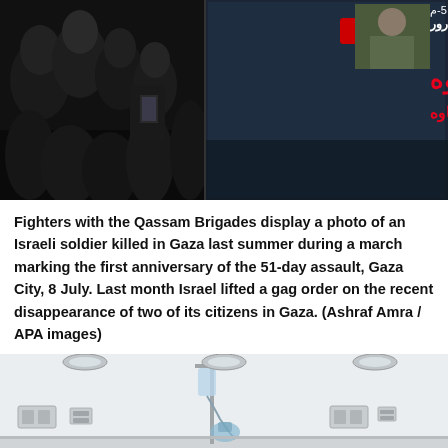[Figure (photo): Dark nighttime scene with crowd on the left side, and a large projection screen on the right showing Arabic text in red and white, with a photo of a man in military uniform.]
Fighters with the Qassam Brigades display a photo of an Israeli soldier killed in Gaza last summer during a march marking the first anniversary of the 51-day assault, Gaza City, 8 July. Last month Israel lifted a gag order on the recent disappearance of two of its citizens in Gaza. (Ashraf Amra / APA images)
[Figure (photo): Interior of a hospital room with white walls, medical equipment including IV stands, oxygen masks, and wall-mounted electrical outlets and medical gas panels.]